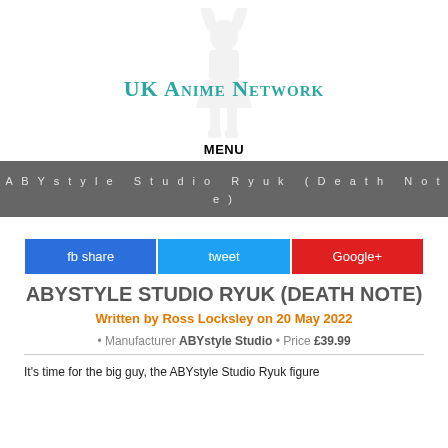[Figure (logo): UK Anime Network logo with teal text and a light grey anime figure (Sailor Moon-like) above the text]
MENU
ABYstyle Studio Ryuk (Death Note)
fb share   tweet   Google+
ABYSTYLE STUDIO RYUK (DEATH NOTE)
Written by Ross Locksley on 20 May 2022
• Manufacturer ABYstyle Studio • Price £39.99
It's time for the big guy, the ABYstyle Studio Ryuk figure